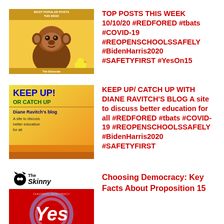[Figure (illustration): Thumbnail showing an orangutan with a yellow/orange 'Best Popular Posts This Week' banner overlay]
TOP POSTS THIS WEEK 10/10/20 #REDFORED #tbats #COVID-19 #REOPENSCHOOLSSAFELY #BidenHarris2020 #SAFETYFIRST #YesOn15
[Figure (illustration): Thumbnail for 'Keep Up / Catch Up - Diane Ravitch's Blog - A site to discuss better education for all' with yellow/orange gradient background]
KEEP UP/ CATCH UP WITH DIANE RAVITCH'S BLOG A site to discuss better education for all #REDFORED #tbats #COVID-19 #REOPENSCHOOLSSAFELY #BidenHarris2020 #SAFETYFIRST
[Figure (illustration): Thumbnail for 'The Skinny' blog with Yes on 15 Proposition graphic in red with circular design]
Choosing Democracy: Key Facts About Proposition 15
TOP POSTS THIS WEEK 10/31/20